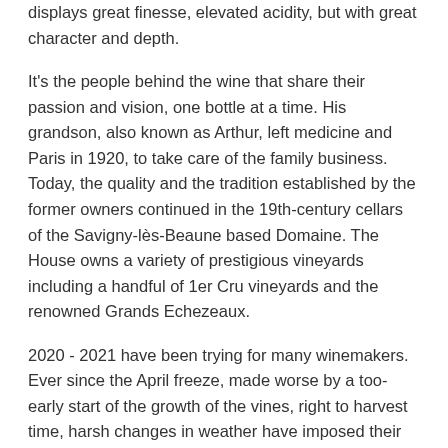displays great finesse, elevated acidity, but with great character and depth.
It's the people behind the wine that share their passion and vision, one bottle at a time. His grandson, also known as Arthur, left medicine and Paris in 1920, to take care of the family business. Today, the quality and the tradition established by the former owners continued in the 19th-century cellars of the Savigny-lès-Beaune based Domaine. The House owns a variety of prestigious vineyards including a handful of 1er Cru vineyards and the renowned Grands Echezeaux.
2020 - 2021 have been trying for many winemakers. Ever since the April freeze, made worse by a too-early start of the growth of the vines, right to harvest time, harsh changes in weather have imposed their tempo: winemakers have had to be constantly attentive and reactive. The only respite was the flowering, which took place under good conditions, and...